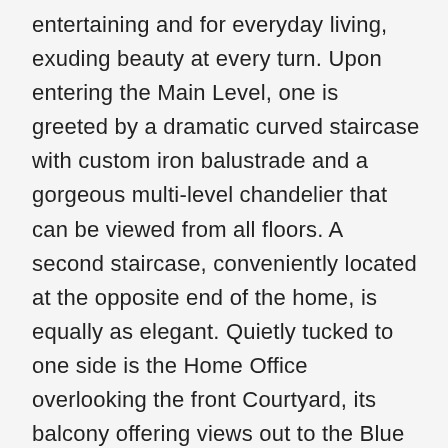entertaining and for everyday living, exuding beauty at every turn. Upon entering the Main Level, one is greeted by a dramatic curved staircase with custom iron balustrade and a gorgeous multi-level chandelier that can be viewed from all floors. A second staircase, conveniently located at the opposite end of the home, is equally as elegant. Quietly tucked to one side is the Home Office overlooking the front Courtyard, its balcony offering views out to the Blue Heron Nature Preserve. The gracious Dining Room hosts 12+ with ambiance provided by twin 18th Century chandeliers. The main Living Room provides two seating areas, one centered around the fireplace, the other around media. It is open to the built-in mirrored Bar and screened-in Porch. The Kitchen is a chef's dream – it is as functional as it is beautiful. In addition to the highest grade appliances, marble countertops, pewter topped island, and custom Francoise &